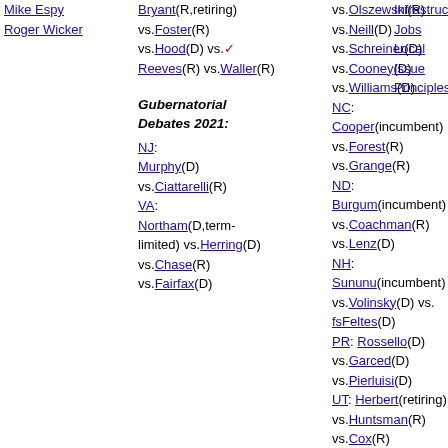Mike Espy
Roger Wicker
Bryant(R,retiring) vs.Foster(R) vs.Hood(D) vs.✓ Reeves(R) vs.Waller(R)
Gubernatorial Debates 2021:
NJ: Murphy(D) vs.Ciattarelli(R) VA: Northam(D,term-limited) vs.Herring(D) vs.Chase(R) vs.Fairfax(D)
vs.Olszewski(R) vs.Neill(D) vs.Schreiner(D) vs.Cooney(D) vs.Williams(D) NC: Cooper(incumbent) vs.Forest(R) vs.Grange(R) ND: Burgum(incumbent) vs.Coachman(R) vs.Lenz(D) NH: Sununu(incumbent) vs.Volinsky(D) vs.fsFeltes(D) PR: Rossello(D) vs.Garced(D) vs.Pierluisi(D) UT: Herbert(retiring) vs.Huntsman(R) vs.Cox(R) vs.Burningham(R) vs.Newton(D) vs.Hughes(R) VT: Scott(incumbent) vs.Holcombe(D) vs.Zuckerman(D) WA: Inslee(incumbent) vs.Bryant(R) vs.Fortunato(R) WA:
Infrastructu...
Jobs
Local Issue...
Principles/...